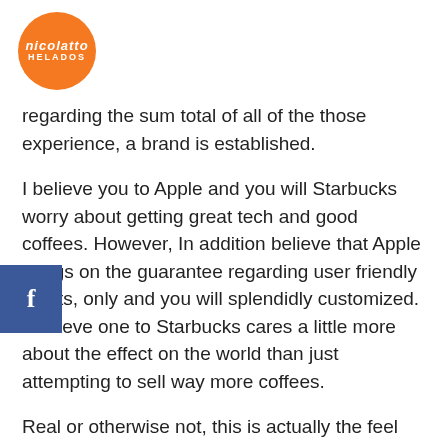[Figure (logo): Nicolatto Helados orange circular logo with brand name in white text]
regarding the sum total of all of the those experience, a brand is established.
I believe you to Apple and you will Starbucks worry about getting great tech and good coffees. However, In addition believe that Apple brings on the guarantee regarding user friendly points, only and you will splendidly customized. I believe one to Starbucks cares a little more about the effect on the world than just attempting to sell way more coffees.
Real or otherwise not, this is actually the feel We have with these brands. This experience lies seriously in my own mind. Without advertisement, logo, or sales agent you are going to alter that.